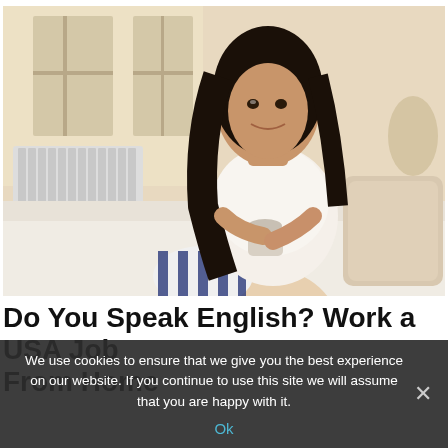[Figure (photo): A young woman with long dark hair sitting cross-legged on a bed, wearing a white t-shirt and blue-and-white striped pants, holding a white cup/mug, smiling at camera. Bright room with white radiator visible in background, white bedding, beige pillow.]
Do You Speak English? Work a USA Job From Home
We use cookies to ensure that we give you the best experience on our website. If you continue to use this site we will assume that you are happy with it.
Ok